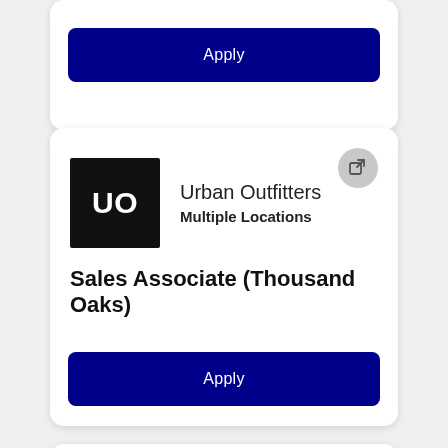Apply
Urban Outfitters
Multiple Locations
Sales Associate (Thousand Oaks)
Apply